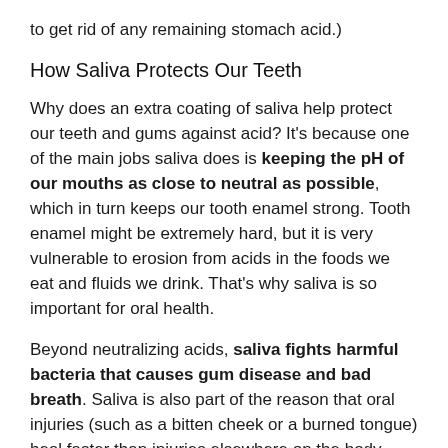to get rid of any remaining stomach acid.)
How Saliva Protects Our Teeth
Why does an extra coating of saliva help protect our teeth and gums against acid? It's because one of the main jobs saliva does is keeping the pH of our mouths as close to neutral as possible, which in turn keeps our tooth enamel strong. Tooth enamel might be extremely hard, but it is very vulnerable to erosion from acids in the foods we eat and fluids we drink. That's why saliva is so important for oral health.
Beyond neutralizing acids, saliva fights harmful bacteria that causes gum disease and bad breath. Saliva is also part of the reason that oral injuries (such as a bitten cheek or a burned tongue) heal faster than injuries elsewhere on the body. Saliva contains growth factors that promote quicker healing!